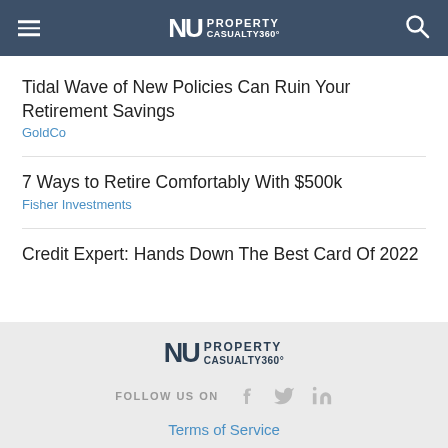NU PROPERTY CASUALTY 360°
Tidal Wave of New Policies Can Ruin Your Retirement Savings
GoldCo
7 Ways to Retire Comfortably With $500k
Fisher Investments
Credit Expert: Hands Down The Best Card Of 2022
NU PROPERTY CASUALTY 360°
FOLLOW US ON
Terms of Service